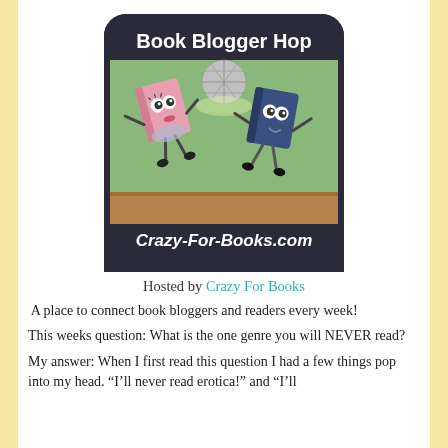[Figure (logo): Book Blogger Hop logo showing two animated dancing books (one pink, one navy) under a disco ball on a green background. Text reads 'Book Blogger Hop' at top and 'Crazy-For-Books.com' at bottom, with rounded dark border.]
Hosted by Crazy For Books
A place to connect book bloggers and readers every week!
This weeks question: What is the one genre you will NEVER read?
My answer: When I first read this question I had a few things pop into my head. “I’ll never read erotica!” and “I’ll